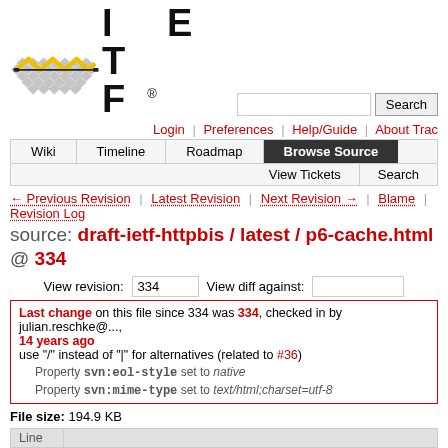[Figure (logo): IETF logo with diamond pattern and zigzag yellow/black line, with text 'IETF®' in large bold letters and a search box]
Login | Preferences | Help/Guide | About Trac
Wiki | Timeline | Roadmap | Browse Source | View Tickets | Search
← Previous Revision | Latest Revision | Next Revision → | Blame | Revision Log
source: draft-ietf-httpbis / latest / p6-cache.html @ 334
View revision: 334   View diff against:
Last change on this file since 334 was 334, checked in by julian.reschke@..., 14 years ago
use "/" instead of "|" for alternatives (related to #36)
Property svn:eol-style set to native
Property svn:mime-type set to text/html;charset=utf-8
File size: 194.9 KB
| Line |  |
| --- | --- |
| 1 | <!DOCTYPE html |